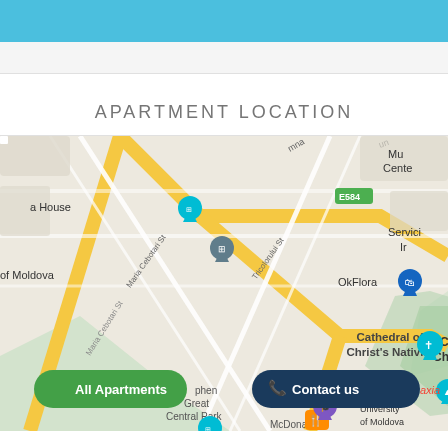APARTMENT LOCATION
[Figure (map): Google Maps view showing Cathedral of Christ's Nativity area in Chisinau, Moldova, with streets including Maria Cebotari St, Tricolorului St, E584 highway marker, landmarks including OkFlora, International University of Moldova, Triumph, Stephen the Great Central Park, McDonald's, and map pins for various locations. Two overlay buttons: 'All Apartments' (green) and 'Contact us' (dark blue with phone icon).]